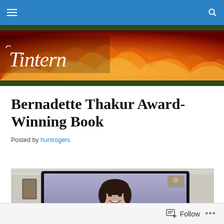Navigation bar with hamburger menu and search icon
[Figure (illustration): Tintern website banner with fire/flames background and cursive Tintern logo text in white]
Bernadette Thakur Award-Winning Book
Posted by huntrogers
[Figure (photo): A woman smiling on a video call displayed on a TV screen mounted on a wall with ceiling tiles visible]
Follow ...